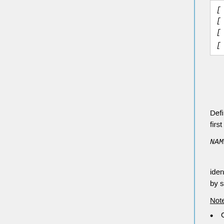[Figure (screenshot): Code block showing syntax lines: [ wx C G ], [ wt SB TYPE MIN MAX ], [ wi ITP NI WWG1 DF1 WWG2 DF...], [ wi ITP NI WWG NX NY NZ NLO...]]
Defines a weight window mesh for variance reduction. The first parameter:
NAME : a unique name to identify the mesh
identifies the mesh. The remaining parameters are defined by separate key words followed by the input values.
Notes:
Only works in external source simulation mode.
Importance (weight window) meshes can be generated by running the response matrix based solver, or read in MCNP WWINP format.